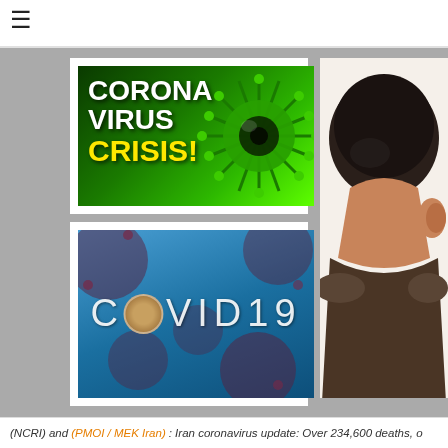[Figure (screenshot): Hamburger menu icon (three horizontal lines) in top left corner]
[Figure (illustration): Coronavirus Crisis banner image with bright green background, white bold text reading CORONA VIRUS and yellow bold text CRISIS!, with a 3D green coronavirus spiky ball on the right]
[Figure (illustration): COVID19 image with blue microscopic coronavirus background, white text reading COVID 19 with a face of a person replacing the letter O]
[Figure (illustration): Cartoon illustration of a person bowing their head down, wearing dark clothing, partially cropped on right side of page]
(NCRI) and (PMOI / MEK Iran): Iran coronavirus update: Over 234,600 deaths, o